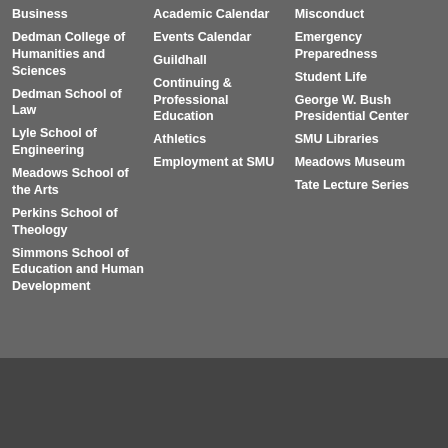Business
Dedman College of Humanities and Sciences
Dedman School of Law
Lyle School of Engineering
Meadows School of the Arts
Perkins School of Theology
Simmons School of Education and Human Development
Academic Calendar
Events Calendar
Guildhall
Continuing & Professional Education
Athletics
Employment at SMU
Misconduct
Emergency Preparedness
Student Life
George W. Bush Presidential Center
SMU Libraries
Meadows Museum
Tate Lecture Series
[Figure (logo): SMU logo in white on dark background]